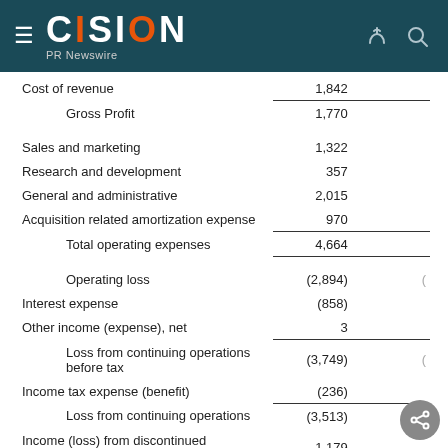CISION PR Newswire
|  | Col1 | Col2 |
| --- | --- | --- |
| Cost of revenue | 1,842 |  |
| Gross Profit | 1,770 |  |
| Sales and marketing | 1,322 |  |
| Research and development | 357 |  |
| General and administrative | 2,015 |  |
| Acquisition related amortization expense | 970 |  |
| Total operating expenses | 4,664 |  |
| Operating loss | (2,894) |  |
| Interest expense | (858) |  |
| Other income (expense), net | 3 |  |
| Loss from continuing operations before tax | (3,749) |  |
| Income tax expense (benefit) | (236) |  |
| Loss from continuing operations | (3,513) |  |
| Income (loss) from discontinued operations, net of tax | 1,179 |  |
| Net loss | $ (2,334) |  |